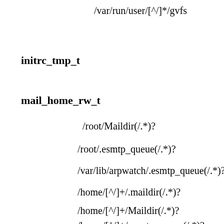/var/run/user/[^/]*/gvfs
initrc_tmp_t
mail_home_rw_t
/root/Maildir(/.*)?
/root/.esmtp_queue(/.*)?
/var/lib/arpwatch/.esmtp_queue(/.*)?
/home/[^/]+/.maildir(/.*)?
/home/[^/]+/Maildir(/.*)?
/home/[^/]+/.esmtp_queue(/.*)?